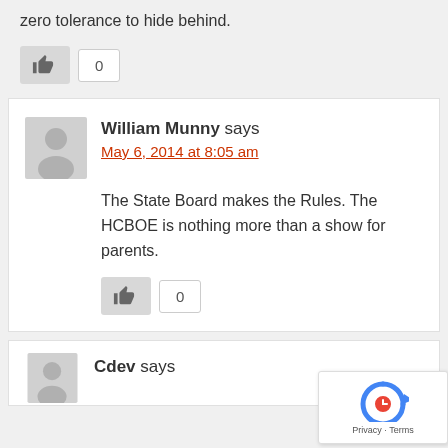zero tolerance to hide behind.
[Figure (other): Like button with thumbs up icon and count badge showing 0]
William Munny says
May 6, 2014 at 8:05 am
The State Board makes the Rules. The HCBOE is nothing more than a show for parents.
[Figure (other): Like button with thumbs up icon and count badge showing 0]
Cdev says